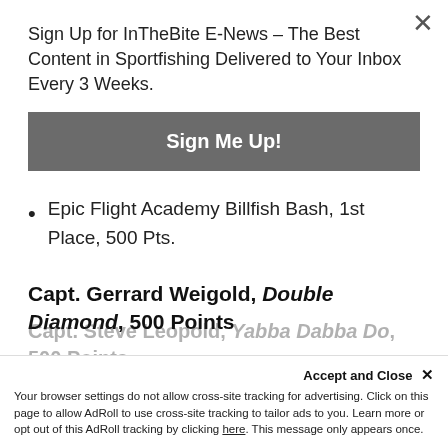Sign Up for InTheBite E-News – The Best Content in Sportfishing Delivered to Your Inbox Every 3 Weeks.
Sign Me Up!
Epic Flight Academy Billfish Bash, 1st Place, 500 Pts.
Capt. Gerrard Weigold, Double Diamond, 500 Points
Dust 'Em Off Sailfish Warmup, 1st Place, 500 Pts.
Capt. Steve Leopold, Yabba Dabba Do, 500 Points
Accept and Close ×
Your browser settings do not allow cross-site tracking for advertising. Click on this page to allow AdRoll to use cross-site tracking to tailor ads to you. Learn more or opt out of this AdRoll tracking by clicking here. This message only appears once.